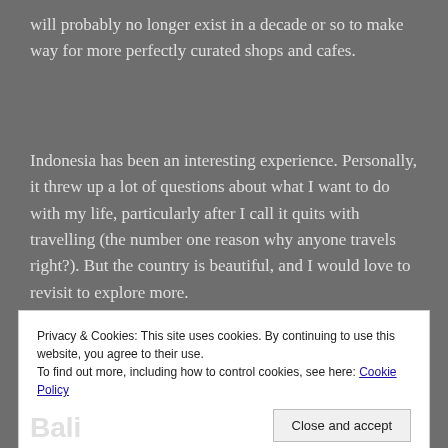will probably no longer exist in a decade or so to make way for more perfectly curated shops and cafes.
Indonesia has been an interesting experience. Personally, it threw up a lot of questions about what I want to do with my life, particularly after I call it quits with travelling (the number one reason why anyone travels right?). But the country is beautiful, and I would love to revisit to explore more.
Privacy & Cookies: This site uses cookies. By continuing to use this website, you agree to their use.
To find out more, including how to control cookies, see here: Cookie Policy
Close and accept
Bali